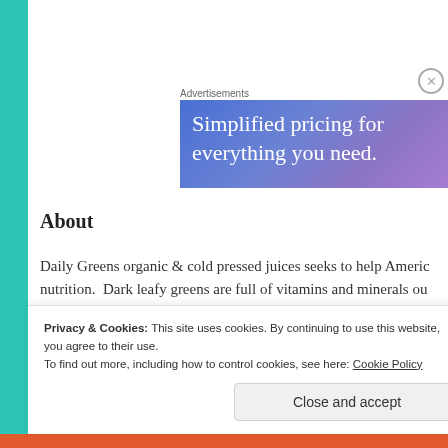Advertisements
[Figure (screenshot): Advertisement banner with gradient blue-purple background showing text 'Simplified pricing for everything you need.']
About
Daily Greens organic & cold pressed juices seeks to help Americ... nutrition.  Dark leafy greens are full of vitamins and minerals ou...
Privacy & Cookies: This site uses cookies. By continuing to use this website, you agree to their use.
To find out more, including how to control cookies, see here: Cookie Policy
Close and accept